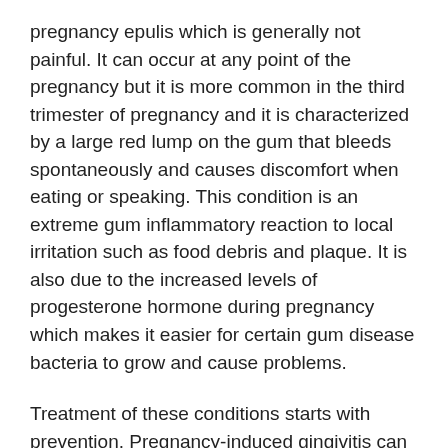pregnancy epulis which is generally not painful. It can occur at any point of the pregnancy but it is more common in the third trimester of pregnancy and it is characterized by a large red lump on the gum that bleeds spontaneously and causes discomfort when eating or speaking. This condition is an extreme gum inflammatory reaction to local irritation such as food debris and plaque. It is also due to the increased levels of progesterone hormone during pregnancy which makes it easier for certain gum disease bacteria to grow and cause problems.
Treatment of these conditions starts with prevention. Pregnancy-induced gingivitis can be avoided if your mouth is in top shape. This means that if you practice very good oral hygiene habits, you can keep gum-disease bacteria at bay. This involves brushing twice daily with a soft bristled-toothbrush and fluoride-containing toothpaste, flossing your